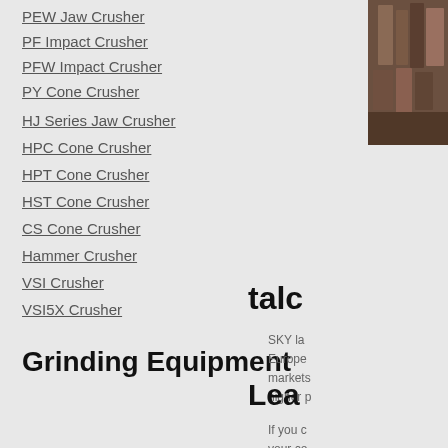PEW Jaw Crusher
PF Impact Crusher
PFW Impact Crusher
PY Cone Crusher
HJ Series Jaw Crusher
HPC Cone Crusher
HPT Cone Crusher
HST Cone Crusher
CS Cone Crusher
Hammer Crusher
VSI Crusher
VSI5X Crusher
Grinding Equipment
[Figure (photo): Industrial machinery or equipment photo, partially visible on the right side]
talc
SKY la Europe markets higher p
Lea
If you c your co